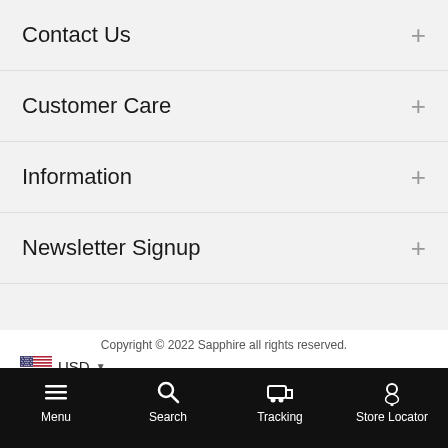Contact Us
Customer Care
Information
Newsletter Signup
Copyright © 2022 Sapphire all rights reserved.
[Figure (screenshot): US flag icon with USD currency selector and dropdown arrow]
[Figure (screenshot): Payment method logos: PayPal, Discover, Amex, Visa, Mastercard, SSL secure, Safepay]
Menu | Search | Tracking | Store Locator